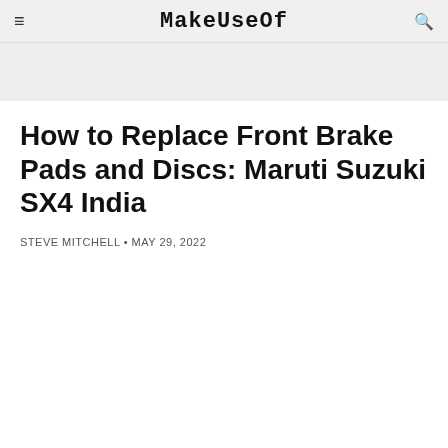MakeUseOf
How to Replace Front Brake Pads and Discs: Maruti Suzuki SX4 India
STEVE MITCHELL • MAY 29, 2022